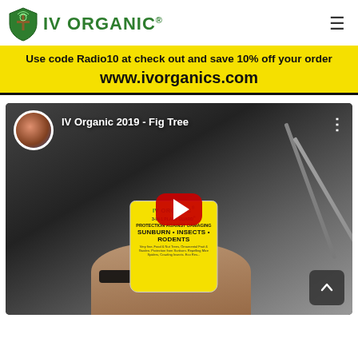[Figure (logo): IV Organic logo with green shield/tree icon and text 'IV ORGANIC®']
[Figure (infographic): Yellow promotional banner: 'Use code Radio10 at check out and save 10% off your order' and 'www.ivorganics.com']
[Figure (screenshot): YouTube video thumbnail titled 'IV Organic 2019 - Fig Tree' showing a hand holding an IV Organic 3-in-1 Plant Guard yellow can, with YouTube play button overlay]